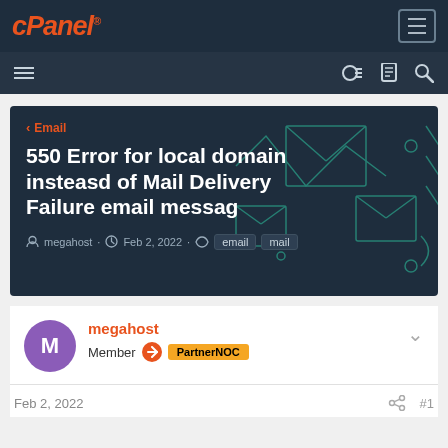cPanel
550 Error for local domain insteasd of Mail Delivery Failure email messag
< Email · megahost · Feb 2, 2022 · email mail
megahost
Member PartnerNOC
Feb 2, 2022  #1